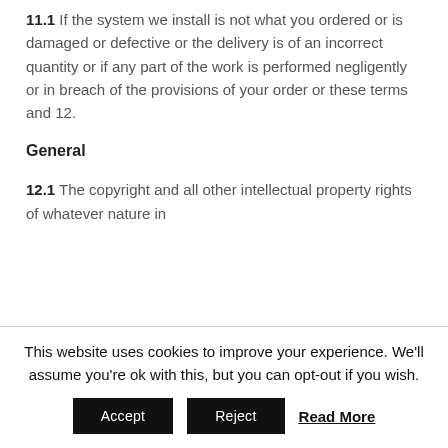11.1 If the system we install is not what you ordered or is damaged or defective or the delivery is of an incorrect quantity or if any part of the work is performed negligently or in breach of the provisions of your order or these terms and 12.
General
12.1 The copyright and all other intellectual property rights of whatever nature in
This website uses cookies to improve your experience. We'll assume you're ok with this, but you can opt-out if you wish.